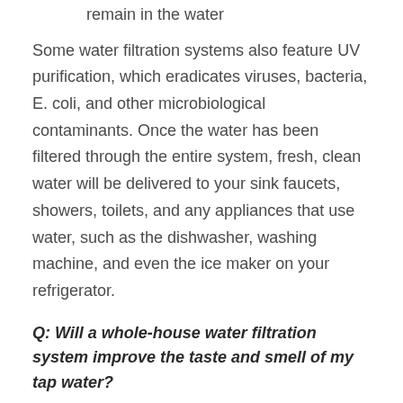remain in the water
Some water filtration systems also feature UV purification, which eradicates viruses, bacteria, E. coli, and other microbiological contaminants. Once the water has been filtered through the entire system, fresh, clean water will be delivered to your sink faucets, showers, toilets, and any appliances that use water, such as the dishwasher, washing machine, and even the ice maker on your refrigerator.
Q: Will a whole-house water filtration system improve the taste and smell of my tap water?
A: Yes! A high-quality whole-house Cutler, FL water purification system will remove up to 99.9% of all contaminants from both municipal